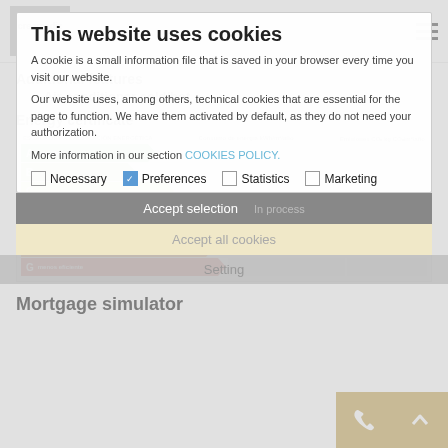[Figure (logo): crearcadiz.com logo in grey box]
Additional features
Air conditioner cold/hot
Energy certificate
[Figure (infographic): Escala de la calificación energética (energy rating scale) showing ratings A through G with colored arrows from dark green (A - más eficiente) to red (G - menos eficiente)]
Mortgage simulator
This website uses cookies
A cookie is a small information file that is saved in your browser every time you visit our website.
Our website uses, among others, technical cookies that are essential for the page to function. We have them activated by default, as they do not need your authorization.
More information in our section COOKIES POLICY.
Necessary   Preferences   Statistics   Marketing
Accept selection   In process
Accept all cookies
Setting